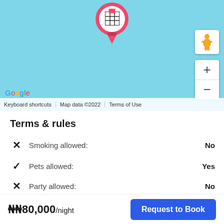[Figure (screenshot): Google Maps view showing a location pin with a building icon on a light blue map background. Top right has a street view person icon button and zoom in/out controls. Bottom left shows Google logo. Bottom bar shows 'Keyboard shortcuts', 'Map data ©2022', 'Terms of Use'.]
Terms & rules
Smoking allowed: No
Pets allowed: Yes
Party allowed: No
₦80,000/night
Request to Book